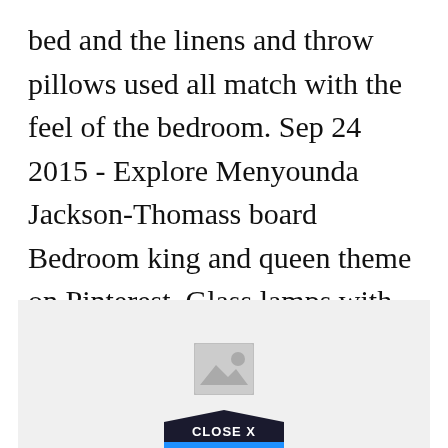bed and the linens and throw pillows used all match with the feel of the bedroom. Sep 24 2015 - Explore Menyounda Jackson-Thomass board Bedroom king and queen theme on Pinterest. Glass lamps with blue glass embellishments top the mother of pearl bedside tables.
[Figure (other): Gray placeholder image box with a photo icon in the center and a 'CLOSE X' button at the bottom]